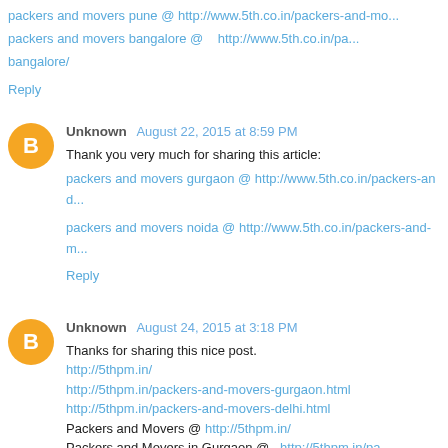packers and movers pune @ http://www.5th.co.in/packers-and-mo...
packers and movers bangalore @ http://www.5th.co.in/pa...bangalore/
Reply
Unknown  August 22, 2015 at 8:59 PM
Thank you very much for sharing this article:
packers and movers gurgaon @ http://www.5th.co.in/packers-and...
packers and movers noida @ http://www.5th.co.in/packers-and-m...
Reply
Unknown  August 24, 2015 at 3:18 PM
Thanks for sharing this nice post.
http://5thpm.in/
http://5thpm.in/packers-and-movers-gurgaon.html
http://5thpm.in/packers-and-movers-delhi.html
Packers and Movers @ http://5thpm.in/
Packers and Movers in Gurgaon @ http://5thpm.in/pa...gurgaon.html
Packers and Movers in Delhi @ http://5thpm.in/packers-and-mo...